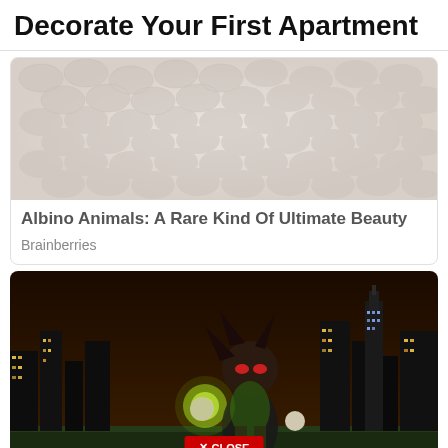Decorate Your First Apartment
[Figure (photo): Close-up photo of white albino animal scales/skin texture with bumpy surface]
Albino Animals: A Rare Kind Of Ultimate Beauty
Brainberries
[Figure (screenshot): Screenshot of an animated video game character (Shadow the Hedgehog in green costume) standing in a night city scene with skyscrapers in the background, with a red CLOSE button overlay at the bottom]